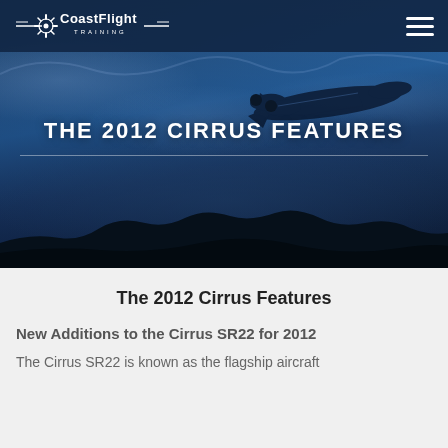[Figure (screenshot): CoastFlight Training website hero banner with dark blue sky, airplane silhouette, navigation bar with logo and hamburger menu, and bold title text 'THE 2012 CIRRUS FEATURES']
The 2012 Cirrus Features
New Additions to the Cirrus SR22 for 2012
The Cirrus SR22 is known as the flagship aircraft